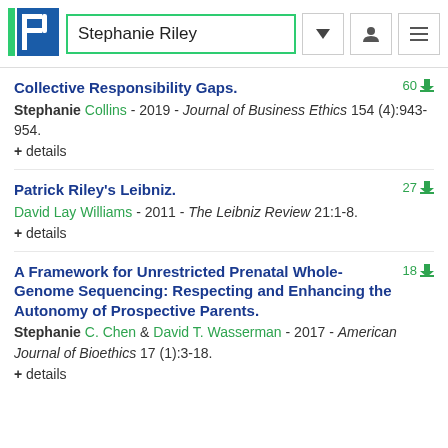Stephanie Riley
Collective Responsibility Gaps.
Stephanie Collins - 2019 - Journal of Business Ethics 154 (4):943-954.
+ details
Patrick Riley's Leibniz.
David Lay Williams - 2011 - The Leibniz Review 21:1-8.
+ details
A Framework for Unrestricted Prenatal Whole-Genome Sequencing: Respecting and Enhancing the Autonomy of Prospective Parents.
Stephanie C. Chen & David T. Wasserman - 2017 - American Journal of Bioethics 17 (1):3-18.
+ details